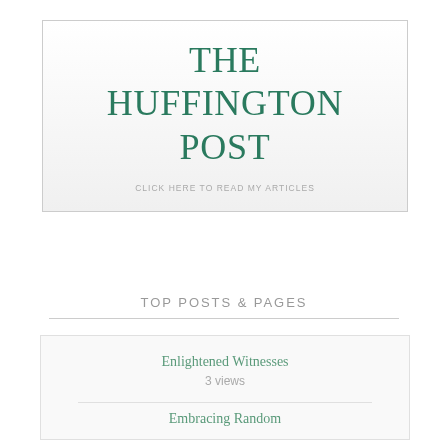[Figure (logo): The Huffington Post logo box with teal serif text and subtitle 'CLICK HERE TO READ MY ARTICLES']
TOP POSTS & PAGES
Enlightened Witnesses
3 views
Embracing Random...